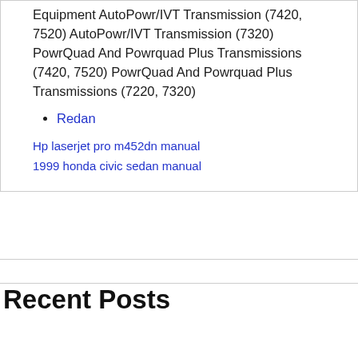Equipment AutoPowr/IVT Transmission (7420, 7520) AutoPowr/IVT Transmission (7320) PowrQuad And Powrquad Plus Transmissions (7420, 7520) PowrQuad And Powrquad Plus Transmissions (7220, 7320)
Redan
Hp laserjet pro m452dn manual
1999 honda civic sedan manual
Recent Posts